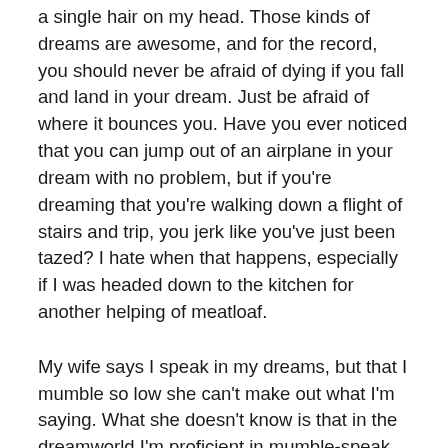a single hair on my head.  Those kinds of dreams are awesome, and for the record, you should never be afraid of dying if you fall and land in your dream.  Just be afraid of where it bounces you.  Have you ever noticed that you can jump out of an airplane in your dream with no problem, but if you're dreaming that you're walking down a flight of stairs and trip, you jerk like you've just been tazed?  I hate when that happens, especially if I was headed down to the kitchen for another helping of meatloaf.
My wife says I speak in my dreams, but that I mumble so low she can't make out what I'm saying.  What she doesn't know is that in the dreamworld I'm proficient in mumble-speak – all fifty-four dialects.  I also know a smattering of gargleese and can snore in twenty nine different languages.  For me, the weirdest dream is the one where I